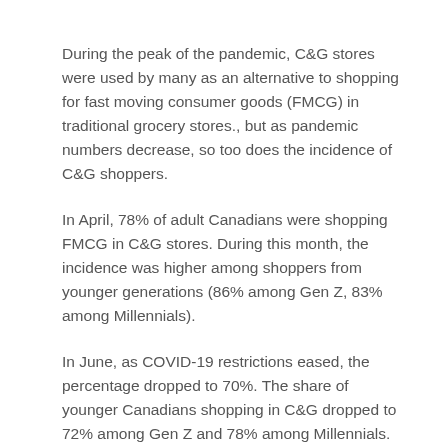During the peak of the pandemic, C&G stores were used by many as an alternative to shopping for fast moving consumer goods (FMCG) in traditional grocery stores., but as pandemic numbers decrease, so too does the incidence of C&G shoppers.
In April, 78% of adult Canadians were shopping FMCG in C&G stores. During this month, the incidence was higher among shoppers from younger generations (86% among Gen Z, 83% among Millennials).
In June, as COVID-19 restrictions eased, the percentage dropped to 70%. The share of younger Canadians shopping in C&G dropped to 72% among Gen Z and 78% among Millennials.
In general, during the past 3 months, shoppers' price